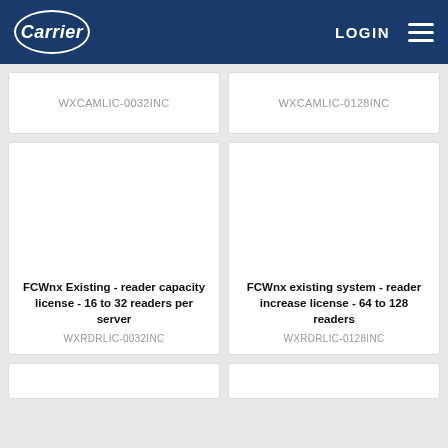Carrier | LOGIN
WXCAMLIC-0032INC
WXCAMLIC-0128INC
FCWnx Existing - reader capacity license - 16 to 32 readers per server
WXRDRLIC-0032INC
FCWnx existing system - reader increase license - 64 to 128 readers
WXRDRLIC-0128INC